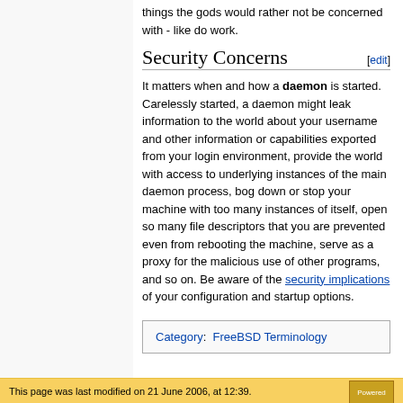things the gods would rather not be concerned with - like do work.
Security Concerns
It matters when and how a daemon is started. Carelessly started, a daemon might leak information to the world about your username and other information or capabilities exported from your login environment, provide the world with access to underlying instances of the main daemon process, bog down or stop your machine with too many instances of itself, open so many file descriptors that you are prevented even from rebooting the machine, serve as a proxy for the malicious use of other programs, and so on. Be aware of the security implications of your configuration and startup options.
Category:  FreeBSD Terminology
This page was last modified on 21 June 2006, at 12:39.